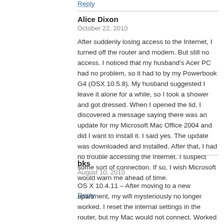Reply
Alice Dixon
October 22, 2010
After suddenly losing access to the Internet, I turned off the router and modem. But still no access. I noticed that my husband's Acer PC had no problem, so it had to by my Powerbook G4 (OSX 10.5.8). My husband suggested I leave it alone for a while, so I took a shower and got dressed. When I opened the lid, I discovered a message saying there was an update for my Microsoft Mac Office 2004 and did I want to install it. I said yes. The update was downloaded and installed. After that, I had no trouble accessing the Internet. I suspect some sort of connection. If so, I wish Microsoft would warn me ahead of time.
Reply
bks
August 10, 2010
OS X 10.4.11 – After moving to a new apartment, my wifi mysteriously no longer worked. I reset the internal settings in the router, but my Mac would not connect. Worked through this list top to bottom, and, after the